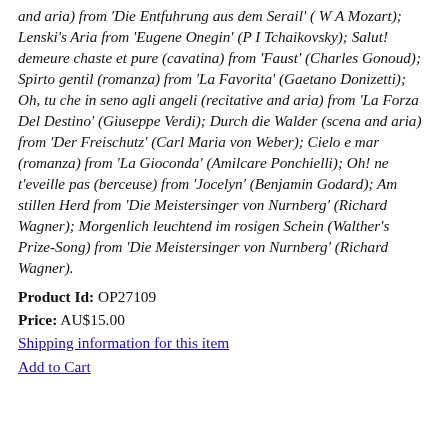and aria) from 'Die Entfuhrung aus dem Serail' ( W A Mozart); Lenski's Aria from 'Eugene Onegin' (P I Tchaikovsky); Salut! demeure chaste et pure (cavatina) from 'Faust' (Charles Gonoud); Spirto gentil (romanza) from 'La Favorita' (Gaetano Donizetti); Oh, tu che in seno agli angeli (recitative and aria) from 'La Forza Del Destino' (Giuseppe Verdi); Durch die Walder (scena and aria) from 'Der Freischutz' (Carl Maria von Weber); Cielo e mar (romanza) from 'La Gioconda' (Amilcare Ponchielli); Oh! ne t'eveille pas (berceuse) from 'Jocelyn' (Benjamin Godard); Am stillen Herd from 'Die Meistersinger von Nurnberg' (Richard Wagner); Morgenlich leuchtend im rosigen Schein (Walther's Prize-Song) from 'Die Meistersinger von Nurnberg' (Richard Wagner).
Product Id: OP27109
Price: AU$15.00
Shipping information for this item
Add to Cart